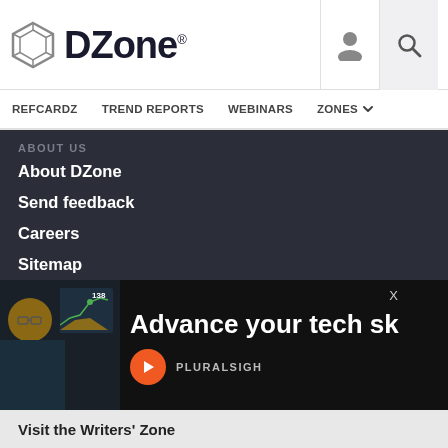[Figure (logo): DZone logo with hexagon icon]
REFCARDZ  TREND REPORTS  WEBINARS  ZONES
ABOUT US
About DZone
Send feedback
Careers
Sitemap
ADVERTISE
Advertise with DZone
CONTRIBUTE ON DZONE
Ar…
MV…
Be…
[Figure (screenshot): Pluralsight ad overlay: man with glasses in front of a monitor showing a graph with 138, text 'Advance your tech sh' and Pluralsight logo]
Visit the Writers' Zone